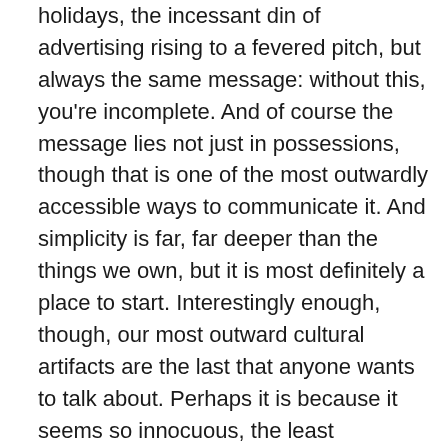holidays, the incessant din of advertising rising to a fevered pitch, but always the same message: without this, you're incomplete. And of course the message lies not just in possessions, though that is one of the most outwardly accessible ways to communicate it. And simplicity is far, far deeper than the things we own, but it is most definitely a place to start. Interestingly enough, though, our most outward cultural artifacts are the last that anyone wants to talk about. Perhaps it is because it seems so innocuous, the least important thing to consider in a host of societal ills and personal sanctification. Or perhaps it is because we are so quick to judge our value by our appearance, especially as women, and so quick to judge the value of others by their possessions, especially as Americans, and so it simply hits far closer to home than we'd care to admit. That was the realization the Lord had for me that week in